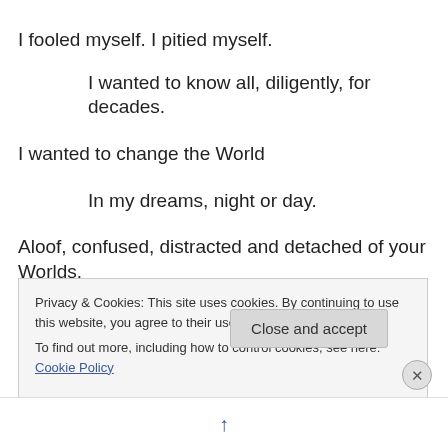I fooled myself. I pitied myself.
I wanted to know all, diligently, for decades.
I wanted to change the World
In my dreams, night or day.
Aloof, confused, distracted and detached of your Worlds.
It was the right thing then.  Still right, now.
I now take one task at a time.
Privacy & Cookies: This site uses cookies. By continuing to use this website, you agree to their use.
To find out more, including how to control cookies, see here: Cookie Policy
Close and accept